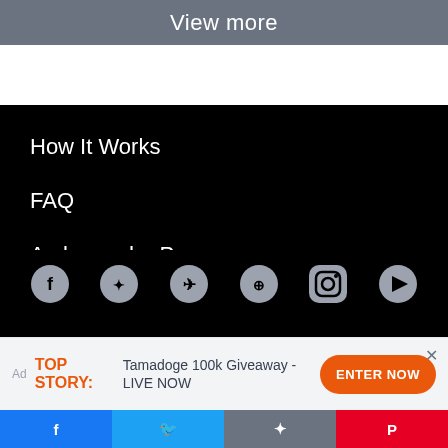View more
How It Works
FAQ
Ambassador Program
Terms
Privacy
Stats
[Figure (illustration): Social media icon circles: Facebook, Twitter, Telegram, another icon, Instagram, another icon]
Ad TOP STORY: Tamadoge 100k Giveaway - LIVE NOW ENTER NOW